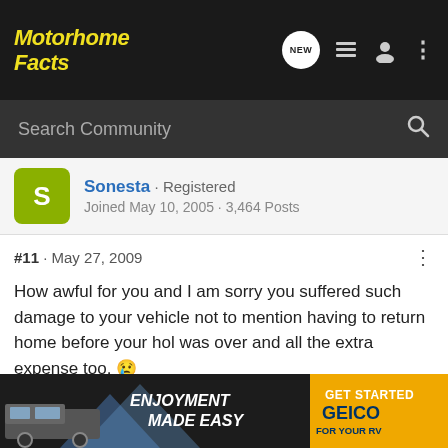Motorhome Facts
Search Community
Sonesta · Registered
Joined May 10, 2005 · 3,464 Posts
#11 · May 27, 2009
How awful for you and I am sorry you suffered such damage to your vehicle not to mention having to return home before your hol was over and all the extra expense too. 😢
Not wishing to rub salt in the wounds though David but if you ignored the warning sign that had been posted at that spot then maybe that was where you made your BIG MISTAKE! 8O Obviously, whoever put the notice up has decided to take matters into their own hands if it becomes possible or chose to ignore it... the one who thr... had
[Figure (infographic): GEICO RV advertisement banner: 'ENJOYMENT MADE EASY' with RV image on left and 'GET STARTED GEICO FOR YOUR RV' on right]